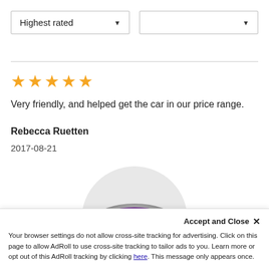[Figure (screenshot): Dropdown filter: 'Highest rated' with arrow, and a second empty dropdown with arrow]
[Figure (illustration): 5 orange stars rating]
Very friendly, and helped get the car in our price range.
Rebecca Ruetten
2017-08-21
[Figure (logo): cars.com logo in purple oval on grey circle background]
Accept and Close ×
Your browser settings do not allow cross-site tracking for advertising. Click on this page to allow AdRoll to use cross-site tracking to tailor ads to you. Learn more or opt out of this AdRoll tracking by clicking here. This message only appears once.